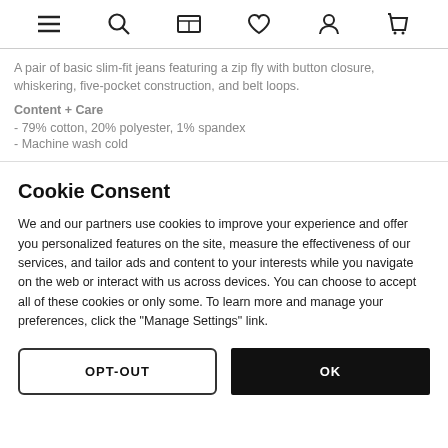Navigation icons: menu, search, store, wishlist, account, cart
A pair of basic slim-fit jeans featuring a zip fly with button closure, whiskering, five-pocket construction, and belt loops.
Content + Care
- 79% cotton, 20% polyester, 1% spandex
- Machine wash cold
Cookie Consent
We and our partners use cookies to improve your experience and offer you personalized features on the site, measure the effectiveness of our services, and tailor ads and content to your interests while you navigate on the web or interact with us across devices. You can choose to accept all of these cookies or only some. To learn more and manage your preferences, click the "Manage Settings" link.
OPT-OUT | OK